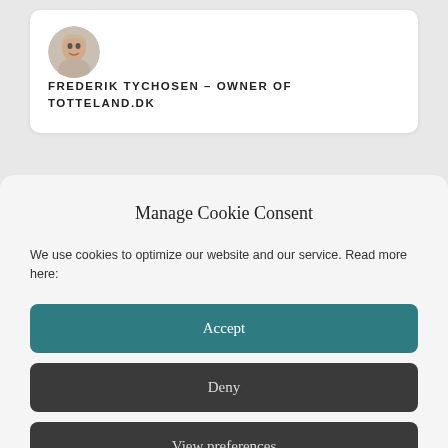[Figure (photo): Circular avatar photo of a person, likely male, with light hair]
FREDERIK TYCHOSEN – OWNER OF TOTTELAND.DK
Manage Cookie Consent
We use cookies to optimize our website and our service. Read more here:
Accept
Deny
View preferences
Cookie Policy